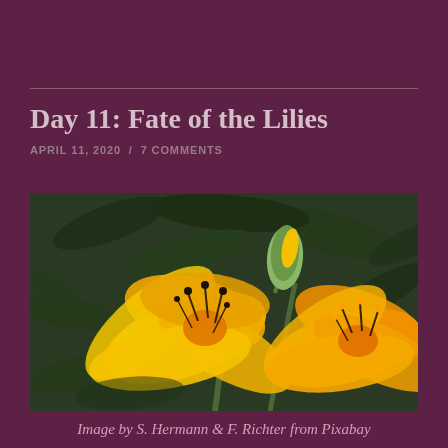Day 11: Fate of the Lilies
APRIL 11, 2020  /  7 COMMENTS
[Figure (photo): Two bright yellow and orange lily flowers in full bloom against a dark green leafy background. One flower is fully open showing orange stamens, and another partially opened bud is visible to the right.]
Image by S. Hermann & F. Richter from Pixabay